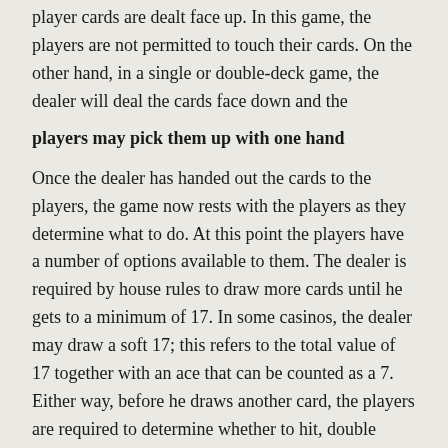player cards are dealt face up. In this game, the players are not permitted to touch their cards. On the other hand, in a single or double-deck game, the dealer will deal the cards face down and the
players may pick them up with one hand
Once the dealer has handed out the cards to the players, the game now rests with the players as they determine what to do. At this point the players have a number of options available to them. The dealer is required by house rules to draw more cards until he gets to a minimum of 17. In some casinos, the dealer may draw a soft 17; this refers to the total value of 17 together with an ace that can be counted as a 7. Either way, before he draws another card, the players are required to determine whether to hit, double down, stand, split or insure.
Hit; hitting refers to taking another card from the